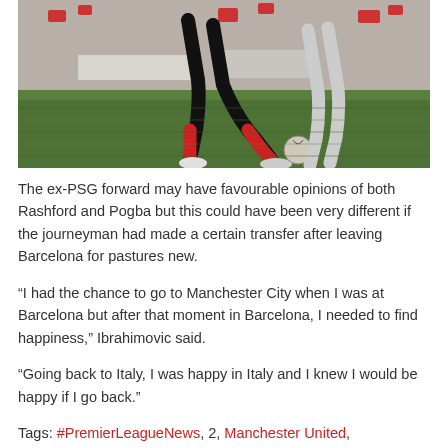[Figure (photo): Action photo of a footballer (Zlatan Ibrahimovic) striking the ball on a grass pitch, taken from ground level showing legs and boots, with crowd visible in background]
The ex-PSG forward may have favourable opinions of both Rashford and Pogba but this could have been very different if the journeyman had made a certain transfer after leaving Barcelona for pastures new.
“I had the chance to go to Manchester City when I was at Barcelona but after that moment in Barcelona, I needed to find happiness,” Ibrahimovic said.
“Going back to Italy, I was happy in Italy and I knew I would be happy if I go back.”
Tags: #PremierLeagueNews, 2, Manchester United, Marcus Rashford, Zlatan Ibrahimovic